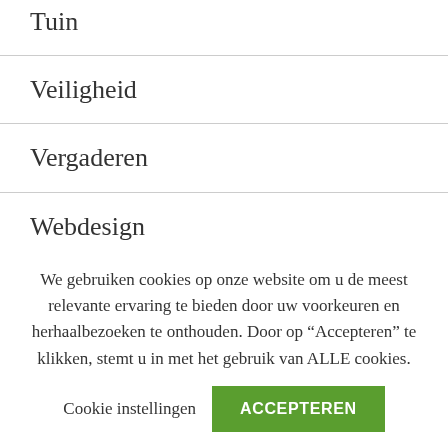Tuin
Veiligheid
Vergaderen
Webdesign
Werkkleding
Zakelijk
We gebruiken cookies op onze website om u de meest relevante ervaring te bieden door uw voorkeuren en herhaalbezoeken te onthouden. Door op “Accepteren” te klikken, stemt u in met het gebruik van ALLE cookies.
Cookie instellingen
ACCEPTEREN